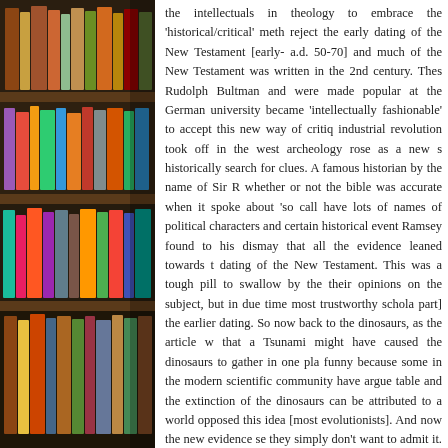[Figure (photo): Bookshelf with colorful books arranged on multiple shelves, photographed from the side.]
the intellectuals in theology to embrace the 'historical/critical' method, reject the early dating of the New Testament [early- a.d. 50-70] and much of the New Testament was written in the 2nd century. These Rudolph Bultman and were made popular at the German university became 'intellectually fashionable' to accept this new way of critiquing industrial revolution took off in the west archeology rose as a new s historically search for clues. A famous historian by the name of Sir R whether or not the bible was accurate when it spoke about 'so call have lots of names of political characters and certain historical event Ramsey found to his dismay that all the evidence leaned towards t dating of the New Testament. This was a tough pill to swallow by the their opinions on the subject, but in due time most trustworthy schola part] the earlier dating. So now back to the dinosaurs, as the article w that a Tsunami might have caused the dinosaurs to gather in one pla funny because some in the modern scientific community have argued table and the extinction of the dinosaurs can be attributed to a world opposed this idea [most evolutionists]. And now the new evidence se they simply don't want to admit it. Like the intellectuals of Sir Ramse where the evidence leads. The facts don't lie; these are 'facts' that ar inince the world's first day.